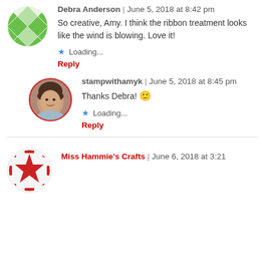[Figure (illustration): Green and white quilt-pattern circular avatar for Debra Anderson]
Debra Anderson | June 5, 2018 at 8:42 pm
So creative, Amy. I think the ribbon treatment looks like the wind is blowing. Love it!
Loading...
Reply
[Figure (photo): Circular photo avatar of stampwithamyk, a person with short dark hair]
stampwithamyk | June 5, 2018 at 8:45 pm
Thanks Debra! 🙂
Loading...
Reply
[Figure (illustration): Red and white quilt-pattern circular avatar for Miss Hammie's Crafts]
Miss Hammie's Crafts | June 6, 2018 at 3:21